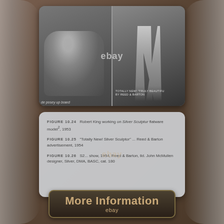[Figure (photo): Two black and white photographs side by side: left photo shows Robert King working on silver sculpture flatware models, 1953; right photo shows silverware pieces displayed artistically]
FIGURE 10.24 Robert King working on silver sculpture flatware model?, 1953
FIGURE 10.25 "Totally New! Silver Sculptor" ... Reed & Barton advertisement, 1954
FIGURE 10.26 S2... show, 1954, Reed & Barton, lld. John McMullen designer, Silver, DMA, BASC, cat. 180
More Information
ebay